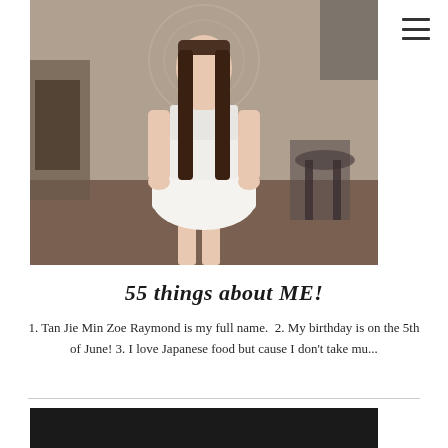[Figure (photo): Young woman wearing a white dress standing in what appears to be a hair salon or restaurant interior with chairs and furniture visible in the background.]
55 things about ME!
1. Tan Jie Min Zoe Raymond is my full name.  2. My birthday is on the 5th of June! 3. I love Japanese food but cause I don't take mu...
[Figure (photo): Partial view of another photo at the bottom of the page, dark background.]